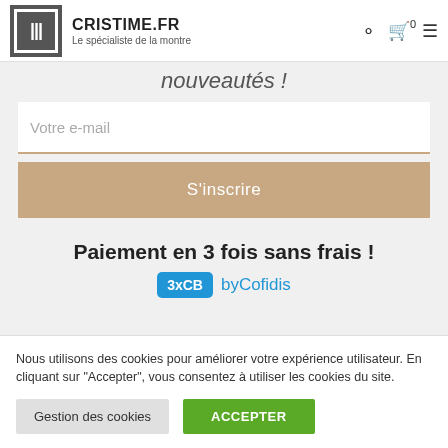CRISTIME.FR — Le spécialiste de la montre
nouveautés !
Votre e-mail
S'inscrire
Paiement en 3 fois sans frais !
3xCB by Cofidis
Nous utilisons des cookies pour améliorer votre expérience utilisateur. En cliquant sur "Accepter", vous consentez à utiliser les cookies du site.
Gestion des cookies
ACCEPTER